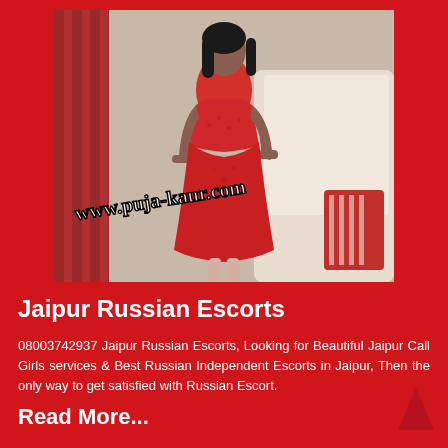[Figure (photo): A woman in a red lace dress standing indoors, with a watermark overlay reading 'www.puja-kaur.com']
Jaipur Russian Escorts
08003742937 Jaipur Russian Escorts, Looking for Beautiful Jaipur Call Girls services & Best Russian Independent Escorts in Jaipur, Then the only way to get satisfied with Russian Escort.
Read More...